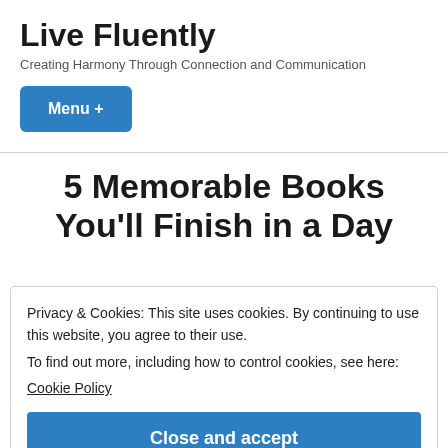Live Fluently
Creating Harmony Through Connection and Communication
Menu +
5 Memorable Books You'll Finish in a Day
Privacy & Cookies: This site uses cookies. By continuing to use this website, you agree to their use.
To find out more, including how to control cookies, see here:
Cookie Policy
Close and accept